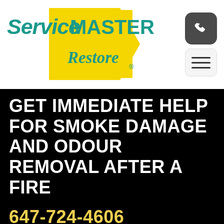[Figure (logo): ServiceMASTER Restore logo with teal italic text, yellow triangle/arrow shape behind 'Restore' in italic teal text, and a registered trademark symbol]
[Figure (other): Phone icon button (dark gray rounded square with white telephone handset) and hamburger menu icon button (light gray rounded square with three horizontal lines)]
GET IMMEDIATE HELP FOR SMOKE DAMAGE AND ODOUR REMOVAL AFTER A FIRE
647-724-4606